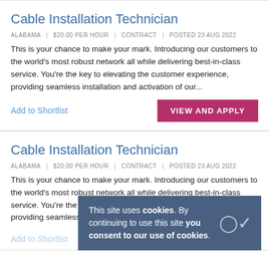Cable Installation Technician
ALABAMA | $20.00 PER HOUR | CONTRACT | POSTED 23 AUG 2022
This is your chance to make your mark. Introducing our customers to the world's most robust network all while delivering best-in-class service. You're the key to elevating the customer experience, providing seamless installation and activation of our...
Add to Shortlist
VIEW AND APPLY
Cable Installation Technician
ALABAMA | $20.00 PER HOUR | CONTRACT | POSTED 23 AUG 2022
This is your chance to make your mark. Introducing our customers to the world's most robust network all while delivering best-in-class service. You're the key to elevating the customer experience, providing seamless installation and activation of our...
Add to Shortlist
VIEW AND APPLY
This site uses cookies. By continuing to use this site you consent to our use of cookies.